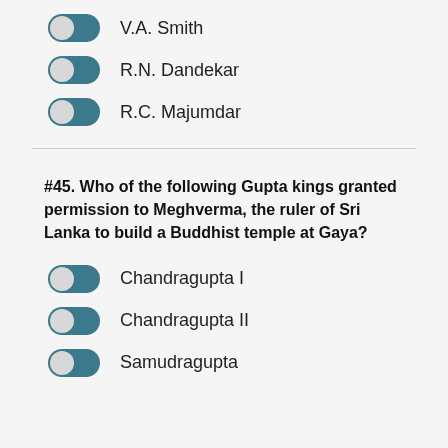V.A. Smith
R.N. Dandekar
R.C. Majumdar
#45. Who of the following Gupta kings granted permission to Meghverma, the ruler of Sri Lanka to build a Buddhist temple at Gaya?
Chandragupta I
Chandragupta II
Samudragupta